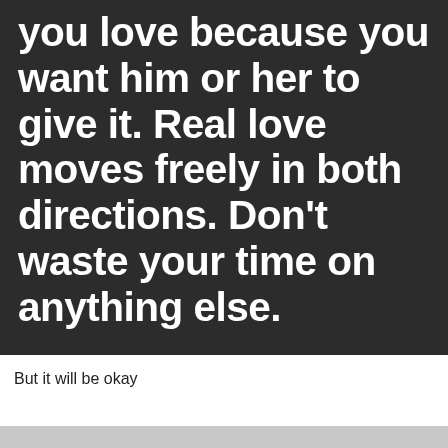[Figure (illustration): Dark background motivational quote image with white bold text reading: 'you love because you want him or her to give it. Real love moves freely in both directions. Don't waste your time on anything else.']
But it will be okay